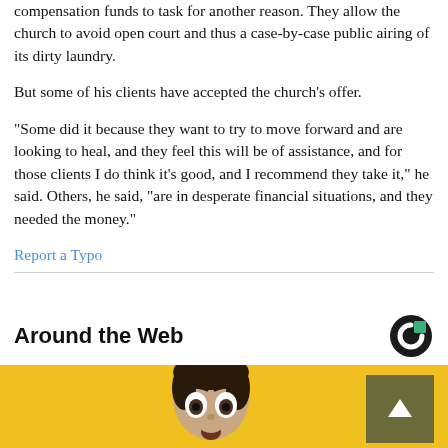compensation funds to task for another reason. They allow the church to avoid open court and thus a case-by-case public airing of its dirty laundry.
But some of his clients have accepted the church's offer.
“Some did it because they want to try to move forward and are looking to heal, and they feel this will be of assistance, and for those clients I do think it’s good, and I recommend they take it,” he said. Others, he said, “are in desperate financial situations, and they needed the money.”
Report a Typo
Around the Web
[Figure (photo): Man with surprised expression on yellow background, with scroll-up button overlay]